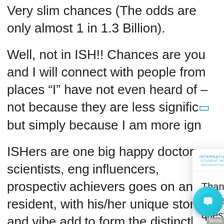Very slim chances (The odds are only almost 1 in 1.3 Billion).
Well, not in ISH!! Chances are you and I will connect with people from places “I” have not even heard of – not because they are less significant but simply because I am more ign[orant].
ISHers are one big happy family! Made up of doctors, scientists, engineers, artists, social influencers, prospective leaders and high achievers goes on and on. Every resident, with his/her unique story and vibe adds to form the distinctly different spirit of ISH in Fall semester.
[Figure (screenshot): Chat popup dialog from International Student House website. Header shows ISH logo. Body text reads: 'Thanks for coming by! We look forward to answering your questions and sharing more about the International Student House with you, please let us know how we can help you.' Blue chat bubble button visible with close (X) button.]